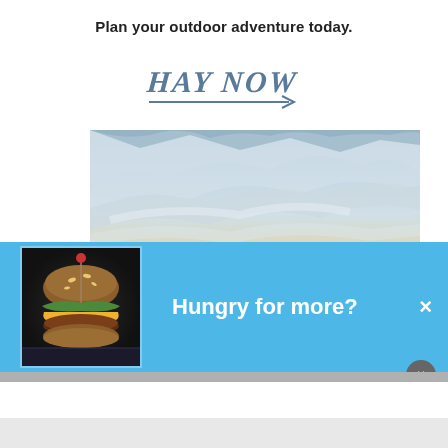Plan your outdoor adventure today.
[Figure (logo): Hay Now handwritten logo with arrow pointing right]
[Figure (photo): Outdoor landscape with dramatic sky, clouds and mountain silhouette at sunset]
[Figure (photo): Close-up photo of a hamburger/cheeseburger on a dark background]
Hungry for more?